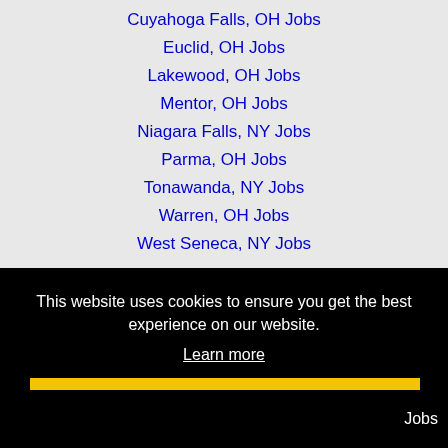Cuyahoga Falls, OH Jobs
Euclid, OH Jobs
Lakewood, OH Jobs
Mentor, OH Jobs
Niagara Falls, NY Jobs
Parma, OH Jobs
Tonawanda, NY Jobs
Warren, OH Jobs
West Seneca, NY Jobs
This website uses cookies to ensure you get the best experience on our website.
Learn more
Got it!
Jobs